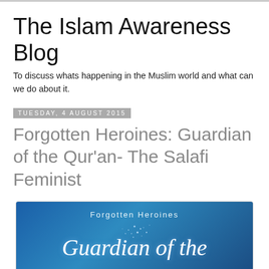The Islam Awareness Blog
To discuss whats happening in the Muslim world and what can we do about it.
Tuesday, 4 August 2015
Forgotten Heroines: Guardian of the Qur'an- The Salafi Feminist
[Figure (illustration): Banner image with blue gradient background showing 'Forgotten Heroines' in spaced uppercase text and 'Guardian of the' in large italic serif font, with decorative star/dot pattern]